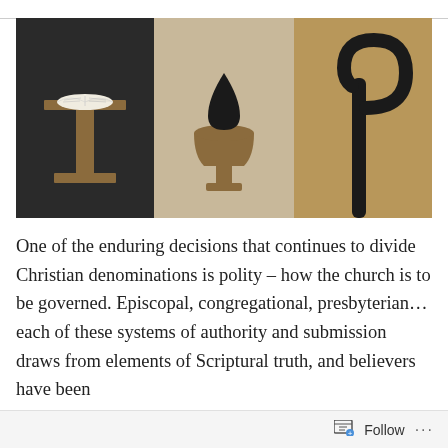[Figure (illustration): Three-panel illustration showing church polity symbols: left panel (dark background) shows a pulpit/lectern with an open book; center panel (light tan background) shows a chalice with a teardrop/blood drop overlay; right panel (tan/brown background) shows a shepherd's crook/staff.]
One of the enduring decisions that continues to divide Christian denominations is polity – how the church is to be governed. Episcopal, congregational, presbyterian… each of these systems of authority and submission draws from elements of Scriptural truth, and believers have been
Follow ···